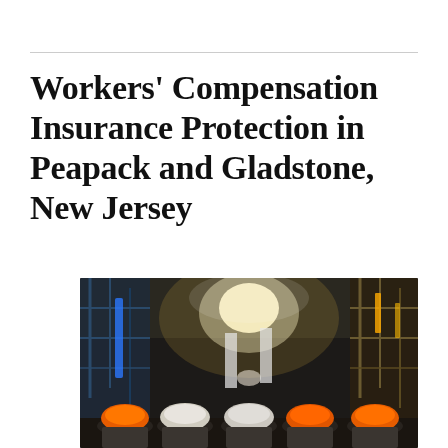Workers' Compensation Insurance Protection in Peapack and Gladstone, New Jersey
[Figure (photo): Workers wearing orange and white hard hats viewed from behind inside an industrial facility with bright lights and scaffolding]